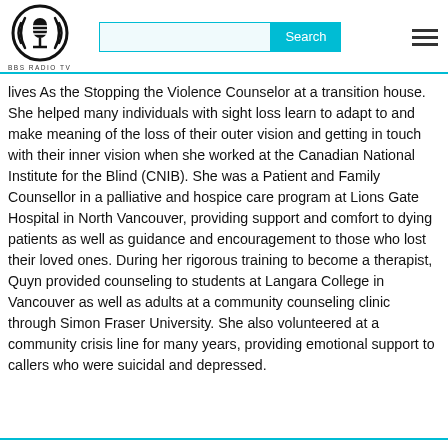BBS RADIO TV
lives As the Stopping the Violence Counselor at a transition house. She helped many individuals with sight loss learn to adapt to and make meaning of the loss of their outer vision and getting in touch with their inner vision when she worked at the Canadian National Institute for the Blind (CNIB). She was a Patient and Family Counsellor in a palliative and hospice care program at Lions Gate Hospital in North Vancouver, providing support and comfort to dying patients as well as guidance and encouragement to those who lost their loved ones. During her rigorous training to become a therapist, Quyn provided counseling to students at Langara College in Vancouver as well as adults at a community counseling clinic through Simon Fraser University. She also volunteered at a community crisis line for many years, providing emotional support to callers who were suicidal and depressed.